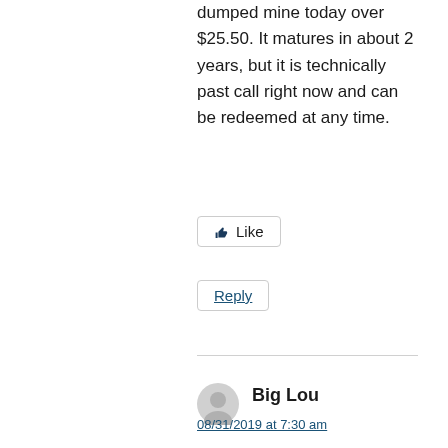dumped mine today over $25.50. It matures in about 2 years, but it is technically past call right now and can be redeemed at any time.
Like
Reply
Big Lou
08/31/2019 at 7:30 am
2whiteroses, thanks will take a look.
Like